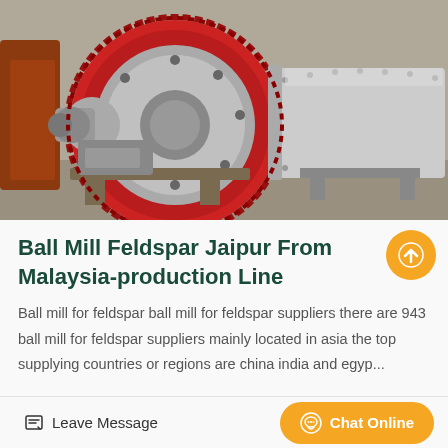[Figure (photo): Industrial ball mill machinery with large red gear ring, grey cylindrical drum with bolted flanges, and industrial motor assembly, photographed in a manufacturing facility]
Ball Mill Feldspar Jaipur From Malaysia-production Line
Ball mill for feldspar ball mill for feldspar suppliers there are 943 ball mill for feldspar suppliers mainly located in asia the top supplying countries or regions are china india and egyp...
Leave Message
Chat Online